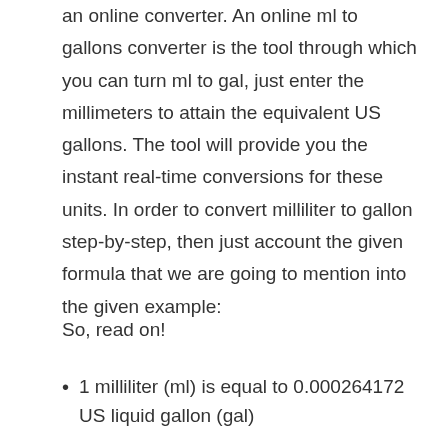an online converter. An online ml to gallons converter is the tool through which you can turn ml to gal, just enter the millimeters to attain the equivalent US gallons. The tool will provide you the instant real-time conversions for these units. In order to convert milliliter to gallon step-by-step, then just account the given formula that we are going to mention into the given example:
So, read on!
1 milliliter (ml) is equal to 0.000264172 US liquid gallon (gal)